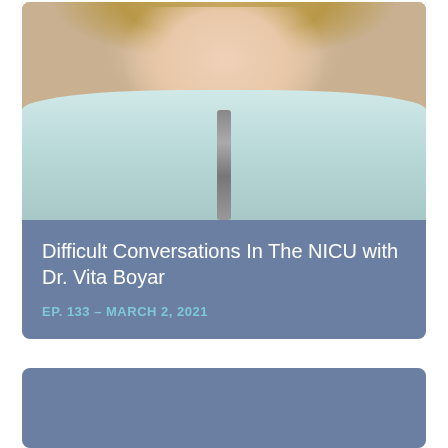[Figure (photo): Photo of Dr. Vita Boyar, a woman with blonde hair wearing a light blue/mint jacket with a zipper detail, photographed from the shoulders up against a neutral background]
Difficult Conversations In The NICU with Dr. Vita Boyar
EP. 133 – MARCH 2, 2021
[Figure (photo): Second card with a solid steel-blue background, content not visible]